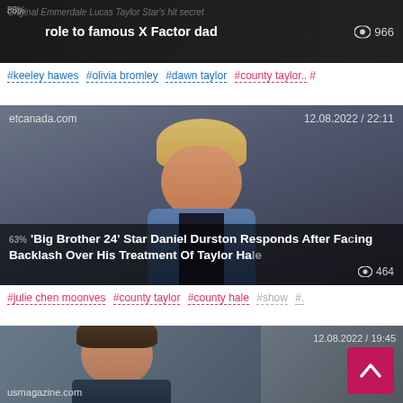[Figure (screenshot): News article card with dark background showing title about Emmerdale Lucas Taylor and X Factor dad with 88% label and 966 views]
#keeley hawes #olivia bromley #dawn taylor #county taylor.. #
[Figure (screenshot): etcanada.com article card dated 12.08.2022 / 22:11 showing Big Brother 24 Star Daniel Durston Responds After Facing Backlash Over His Treatment Of Taylor Hale, 464 views, 63% badge]
#julie chen moonves #county taylor #county hale #show #.
[Figure (screenshot): usmagazine.com article card dated 12.08.2022 / 19:45 showing smiling man, partially visible, with back-to-top pink button]